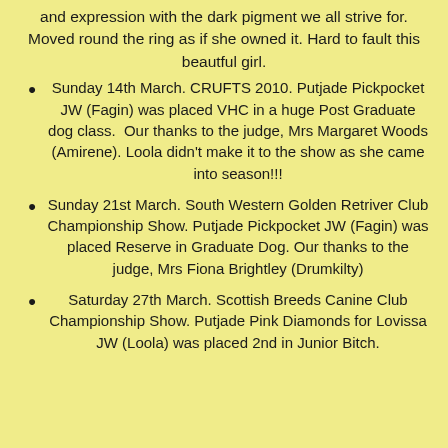and expression with the dark pigment we all strive for. Moved round the ring as if she owned it. Hard to fault this beautful girl.
Sunday 14th March. CRUFTS 2010. Putjade Pickpocket JW (Fagin) was placed VHC in a huge Post Graduate dog class.  Our thanks to the judge, Mrs Margaret Woods (Amirene). Loola didn't make it to the show as she came into season!!!
Sunday 21st March. South Western Golden Retriver Club Championship Show. Putjade Pickpocket JW (Fagin) was placed Reserve in Graduate Dog. Our thanks to the judge, Mrs Fiona Brightley (Drumkilty)
Saturday 27th March. Scottish Breeds Canine Club Championship Show. Putjade Pink Diamonds for Lovissa JW (Loola) was placed 2nd in Junior Bitch.